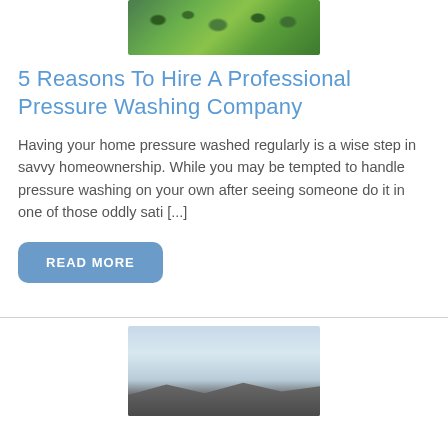[Figure (photo): Photo of green leafy plants/garden viewed from above]
5 Reasons To Hire A Professional Pressure Washing Company
Having your home pressure washed regularly is a wise step in savvy homeownership. While you may be tempted to handle pressure washing on your own after seeing someone do it in one of those oddly sati [...]
READ MORE
[Figure (photo): Photo of a building or roof with a pale blue sky background]